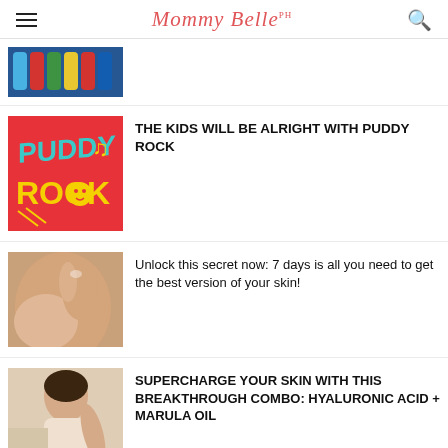Mommy Belle PH
[Figure (photo): Thumbnail of colorful beverage bottles in a store, partially visible at top]
[Figure (illustration): Colorful red background with teal and yellow text reading PUDDY ROCK with music note and smiley face graphics]
THE KIDS WILL BE ALRIGHT WITH PUDDY ROCK
[Figure (photo): Woman applying skincare product to her face, close-up]
Unlock this secret now: 7 days is all you need to get the best version of your skin!
[Figure (photo): Woman in white touching her arm, skincare related image]
SUPERCHARGE YOUR SKIN WITH THIS BREAKTHROUGH COMBO: HYALURONIC ACID + MARULA OIL